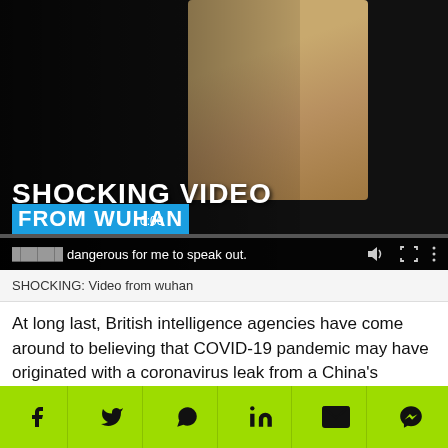[Figure (screenshot): Video thumbnail showing a person with overlay text 'SHOCKING VIDEO' and 'FROM WUHAN' in blue bar, with subtitle text '...dangerous for me to speak out.' Progress bar and media controls visible at bottom of video player.]
SHOCKING: Video from wuhan
At long last, British intelligence agencies have come around to believing that COVID-19 pandemic may have originated with a coronavirus leak from a China's Wuhan laboratory.
Following a media report that revealed the development, UK's Vaccines Minister Nadhim Zahawi demanded that the World Health Organization (WH)
[Figure (infographic): Green social share bar with icons for Facebook, Twitter, WhatsApp, LinkedIn, Email, and Messenger]